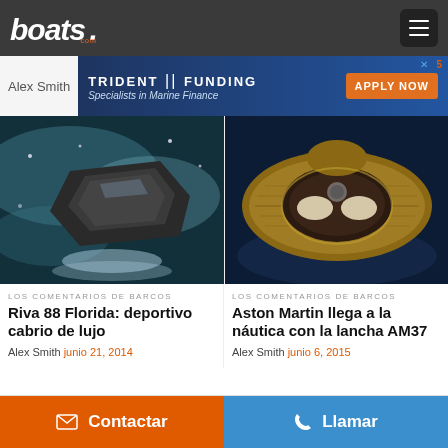boats.com
Alex Smith
[Figure (screenshot): Trident Funding advertisement banner - Specialists in Marine Finance - APPLY NOW button with boat image]
[Figure (photo): Aerial view of a dark luxury speedboat (Riva 88 Florida) moving through sparkling water]
LOS COMENTARIOS DE BARCOS
Riva 88 Florida: deportivo cabrio de lujo
Alex Smith   junio 21, 2014
[Figure (photo): Overhead view of Aston Martin AM37 luxury speedboat with wood deck and premium interior]
LOS COMENTARIOS DE BARCOS
Aston Martin llega a la náutica con la lancha AM37
Alex Smith   junio 6, 2015
Contactar   Llamar